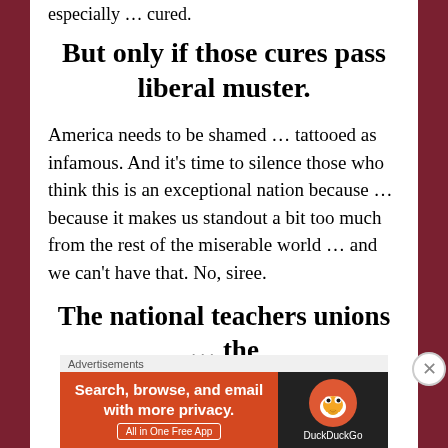especially … cured.
But only if those cures pass liberal muster.
America needs to be shamed … tattooed as infamous. And it's time to silence those who think this is an exceptional nation because … because it makes us standout a bit too much from the rest of the miserable world … and we can't have that. No, siree.
The national teachers unions … the
[Figure (screenshot): DuckDuckGo advertisement banner with orange background on left reading 'Search, browse, and email with more privacy. All in One Free App' and dark background on right with DuckDuckGo logo and text 'DuckDuckGo']